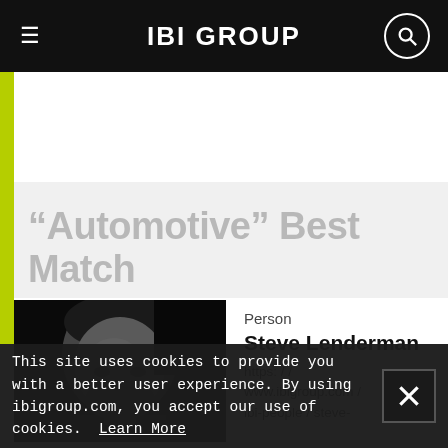IBI GROUP
“Automotive” Best Match
[Figure (photo): Black and white close-up portrait photo of Steve Lenderman]
Person
Steve Lenderman
https://www.ibigroup.com/ibi-people/steve-
This site uses cookies to provide you with a better user experience. By using ibigroup.com, you accept our use of cookies. Learn More